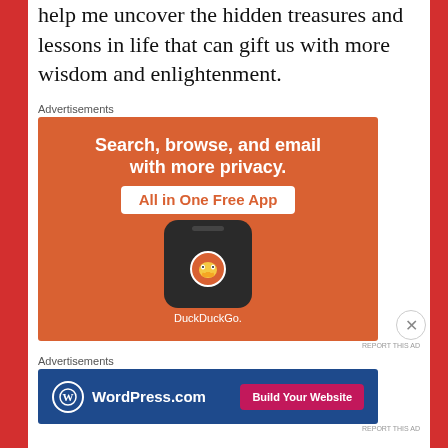help me uncover the hidden treasures and lessons in life that can gift us with more wisdom and enlightenment.
Advertisements
[Figure (screenshot): DuckDuckGo advertisement: orange background with white bold text 'Search, browse, and email with more privacy.' and pill button 'All in One Free App', plus a phone showing the DuckDuckGo duck logo and the text 'DuckDuckGo.']
REPORT THIS AD
Advertisements
[Figure (screenshot): WordPress.com advertisement: dark blue background with WordPress logo and text 'WordPress.com' on the left, and a pink 'Build Your Website' button on the right.]
REPORT THIS AD